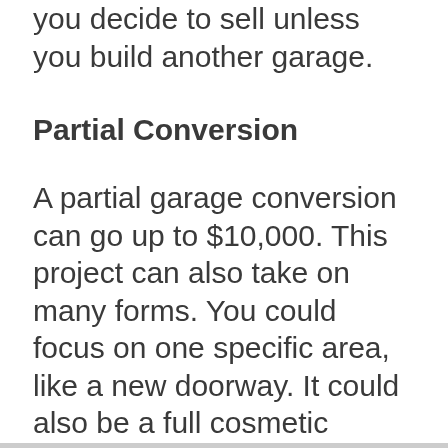you decide to sell unless you build another garage.
Partial Conversion
A partial garage conversion can go up to $10,000. This project can also take on many forms. You could focus on one specific area, like a new doorway. It could also be a full cosmetic update that redoes the walls and floors of the space.